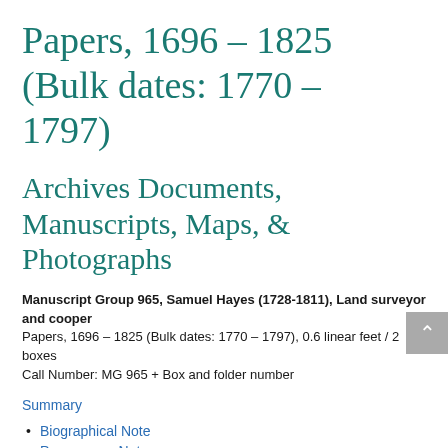Papers, 1696 – 1825 (Bulk dates: 1770 – 1797)
Archives Documents, Manuscripts, Maps, & Photographs
Manuscript Group 965, Samuel Hayes (1728-1811), Land surveyor and cooper
Papers, 1696 – 1825 (Bulk dates: 1770 – 1797), 0.6 linear feet / 2 boxes
Call Number: MG 965 + Box and folder number
Summary
Biographical Note
Provenance Note